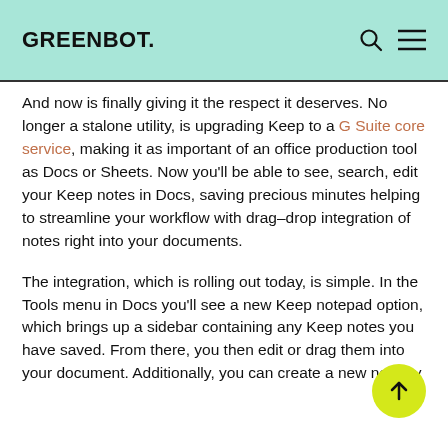GREENBOT.
And now is finally giving it the respect it deserves. No longer a stalone utility, is upgrading Keep to a G Suite core service, making it as important of an office production tool as Docs or Sheets. Now you'll be able to see, search, edit your Keep notes in Docs, saving precious minutes helping to streamline your workflow with drag–drop integration of notes right into your documents.
The integration, which is rolling out today, is simple. In the Tools menu in Docs you'll see a new Keep notepad option, which brings up a sidebar containing any Keep notes you have saved. From there, you then edit or drag them into your document. Additionally, you can create a new note by